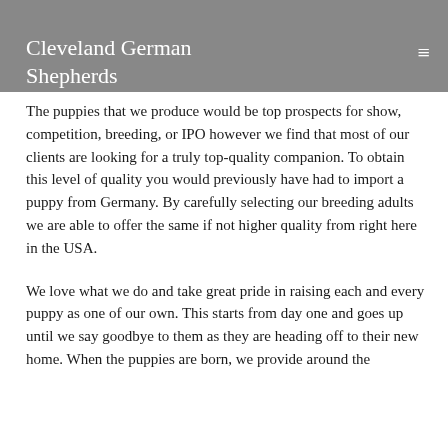Cleveland German Shepherds
clients provide pictures of their puppies as they grow and it is clear that our puppies grow up to be truly exceptional and stunning representations of the breed.
The puppies that we produce would be top prospects for show, competition, breeding, or IPO however we find that most of our clients are looking for a truly top-quality companion. To obtain this level of quality you would previously have had to import a puppy from Germany. By carefully selecting our breeding adults we are able to offer the same if not higher quality from right here in the USA.
We love what we do and take great pride in raising each and every puppy as one of our own. This starts from day one and goes up until we say goodbye to them as they are heading off to their new home. When the puppies are born, we provide around the